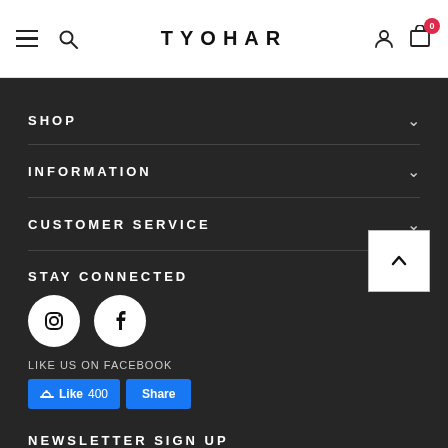TYOHAR
SHOP
INFORMATION
CUSTOMER SERVICE
STAY CONNECTED
[Figure (illustration): Instagram and Facebook social media icon circles (white icons on dark circular background)]
LIKE US ON FACEBOOK
[Figure (screenshot): Facebook Like 400 and Share buttons]
NEWSLETTER SIGN UP